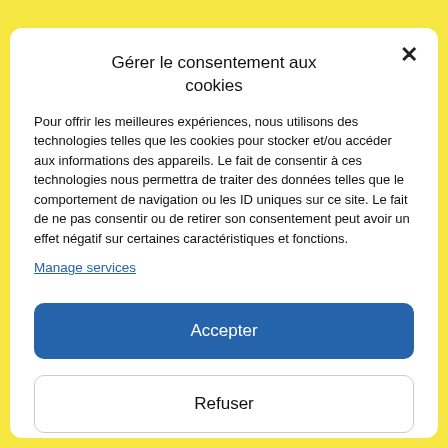Gérer le consentement aux cookies
Pour offrir les meilleures expériences, nous utilisons des technologies telles que les cookies pour stocker et/ou accéder aux informations des appareils. Le fait de consentir à ces technologies nous permettra de traiter des données telles que le comportement de navigation ou les ID uniques sur ce site. Le fait de ne pas consentir ou de retirer son consentement peut avoir un effet négatif sur certaines caractéristiques et fonctions.
Manage services
Accepter
Refuser
Voir les préférences
LEGAL LEGAL